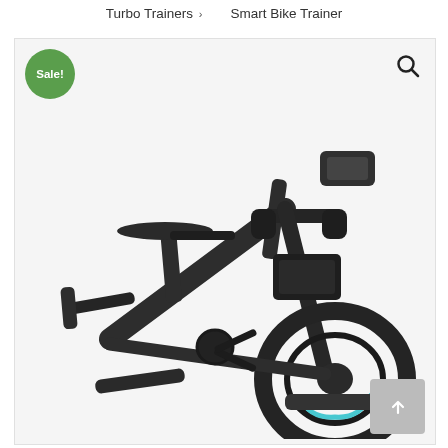Turbo Trainers › Smart Bike Trainer
[Figure (photo): A smart indoor bike trainer/stationary exercise bike shown in dark/black color with a phone holder mount at the top of the handlebars, a saddle seat, and a large flywheel at the base. A green 'Sale!' badge is overlaid in the top-left corner and a search/magnify icon in the top-right. A scroll-to-top button is visible in the bottom-right corner.]